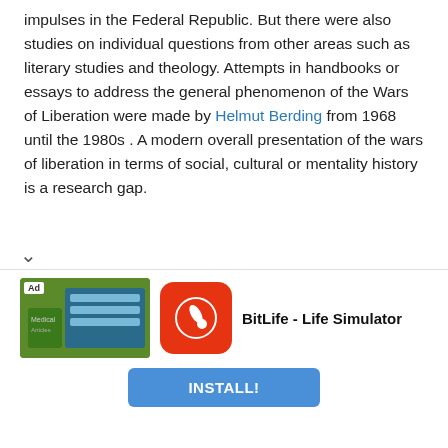impulses in the Federal Republic. But there were also studies on individual questions from other areas such as literary studies and theology. Attempts in handbooks or essays to address the general phenomenon of the Wars of Liberation were made by Helmut Berding from 1968 until the 1980s . A modern overall presentation of the wars of liberation in terms of social, cultural or mentality history is a research gap.
swell
Eckart Kleßmann (Ed.): The Wars of Liberation in eyewitness reports . License issue. Unabridged edition. Deutscher Taschenbuch-Verlag, Munich 1973, ISBN 3-423-00912-8 , ( dtv 912 eyewitness reports ).
[Figure (infographic): BitLife - Life Simulator advertisement banner with app icon and INSTALL! button]